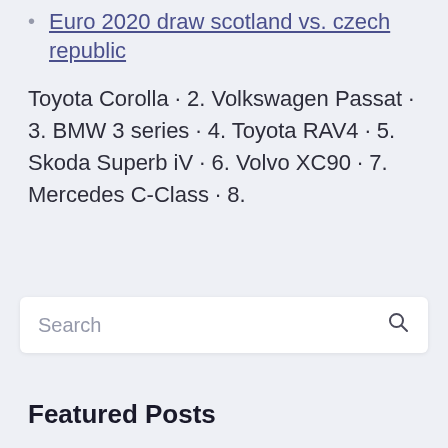Euro 2020 draw scotland vs. czech republic
Toyota Corolla · 2. Volkswagen Passat · 3. BMW 3 series · 4. Toyota RAV4 · 5. Skoda Superb iV · 6. Volvo XC90 · 7. Mercedes C-Class · 8.
Featured Posts